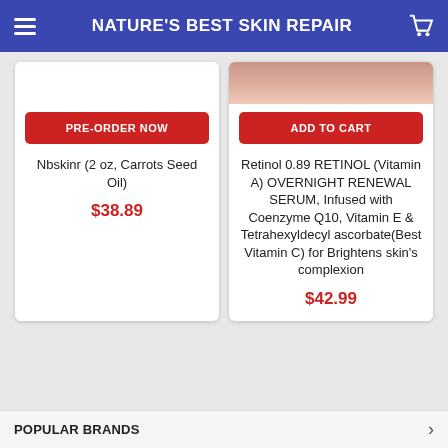NATURE'S BEST SKIN REPAIR
PRE-ORDER NOW
Nbskinr (2 oz, Carrots Seed Oil)
$38.89
ADD TO CART
Retinol 0.89 RETINOL (Vitamin A) OVERNIGHT RENEWAL SERUM, Infused with Coenzyme Q10, Vitamin E & Tetrahexyldecyl ascorbate(Best Vitamin C) for Brightens skin's complexion
$42.99
POPULAR BRANDS